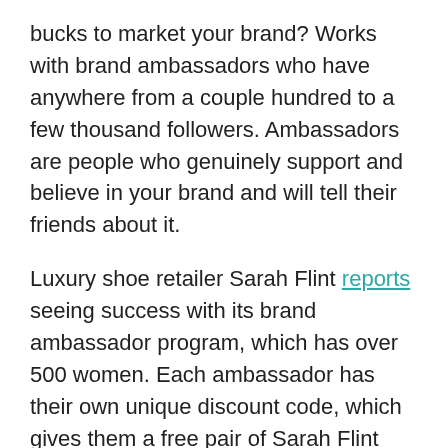bucks to market your brand? Works with brand ambassadors who have anywhere from a couple hundred to a few thousand followers. Ambassadors are people who genuinely support and believe in your brand and will tell their friends about it.
Luxury shoe retailer Sarah Flint reports seeing success with its brand ambassador program, which has over 500 women. Each ambassador has their own unique discount code, which gives them a free pair of Sarah Flint shoes after five new customers use it.
Ambassadors like Holly Hollon attest to the